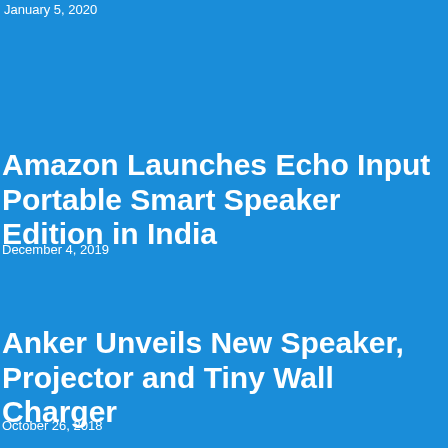January 5, 2020
Amazon Launches Echo Input Portable Smart Speaker Edition in India
December 4, 2019
Anker Unveils New Speaker, Projector and Tiny Wall Charger
October 26, 2018